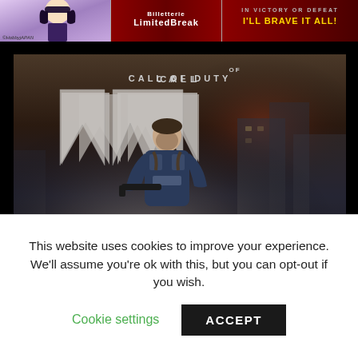[Figure (screenshot): Top banner with anime character on left (©HobbyjAPAN label), 'Limited Break' text in middle on red background, and 'IN VICTORY OR DEFEAT I'LL BRAVE IT ALL!' text on right with yellow bold letters on dark red background]
[Figure (screenshot): Call of Duty Modern Warfare game promotional image showing a bearded soldier in tactical gear against a dark smoky background, with 'CALL OF DUTY' text at top, large MW logo, and 'MODERN WARFARE' text at bottom]
This website uses cookies to improve your experience. We'll assume you're ok with this, but you can opt-out if you wish.
Cookie settings
ACCEPT